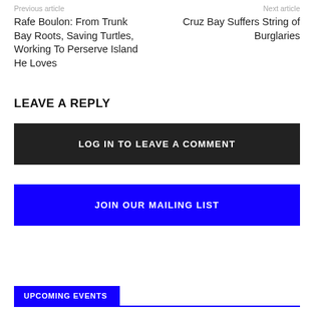Previous article
Next article
Rafe Boulon: From Trunk Bay Roots, Saving Turtles, Working To Perserve Island He Loves
Cruz Bay Suffers String of Burglaries
LEAVE A REPLY
LOG IN TO LEAVE A COMMENT
JOIN OUR MAILING LIST
UPCOMING EVENTS